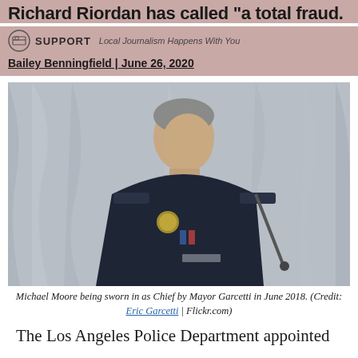Richard Riordan has called "a total fraud."
SUPPORT Local Journalism Happens With You
Bailey Benningfield | June 26, 2020
[Figure (photo): Michael Moore in LAPD chief uniform, looking to the side, with draped curtains in background]
Michael Moore being sworn in as Chief by Mayor Garcetti in June 2018. (Credit: Eric Garcetti | Flickr.com)
The Los Angeles Police Department appointed